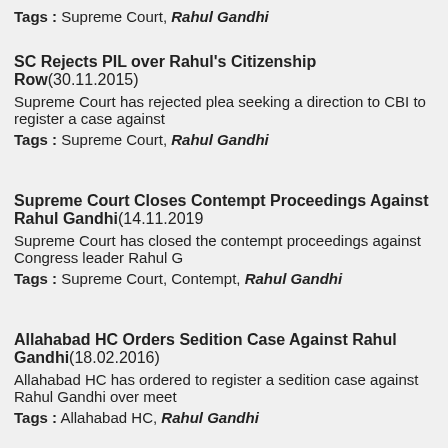Tags : Supreme Court, Rahul Gandhi
SC Rejects PIL over Rahul's Citizenship Row(30.11.2015)
Supreme Court has rejected plea seeking a direction to CBI to register a case against
Tags : Supreme Court, Rahul Gandhi
Supreme Court Closes Contempt Proceedings Against Rahul Gandhi(14.11.2019
Supreme Court has closed the contempt proceedings against Congress leader Rahul G
Tags : Supreme Court, Contempt, Rahul Gandhi
Allahabad HC Orders Sedition Case Against Rahul Gandhi(18.02.2016)
Allahabad HC has ordered to register a sedition case against Rahul Gandhi over meet
Tags : Allahabad HC, Rahul Gandhi